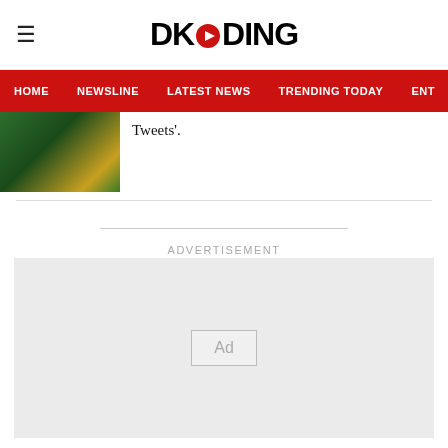DKODING
HOME  NEWSLINE  LATEST NEWS  TRENDING TODAY  ENT
[Figure (photo): Thumbnail photo showing green foliage with some yellow]
Tweets'.
ADVERTISEMENT
[Figure (other): Advertisement placeholder box with 'Ad' label]